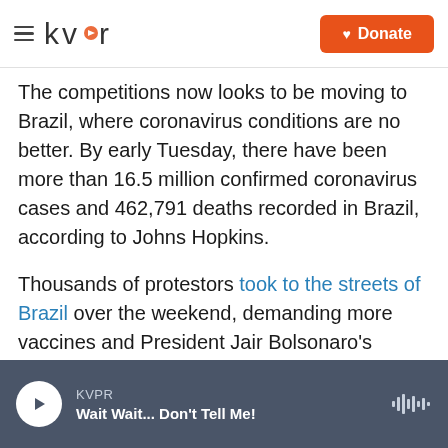kvpr | Donate
The competitions now looks to be moving to Brazil, where coronavirus conditions are no better. By early Tuesday, there have been more than 16.5 million confirmed coronavirus cases and 462,791 deaths recorded in Brazil, according to Johns Hopkins.
Thousands of protestors took to the streets of Brazil over the weekend, demanding more vaccines and President Jair Bolsonaro's impeachment over the handling of the virus.
Protestors held signs depicting Bolsonaro as a virus and with messages that read in Portuguese:
KVPR | Wait Wait... Don't Tell Me!